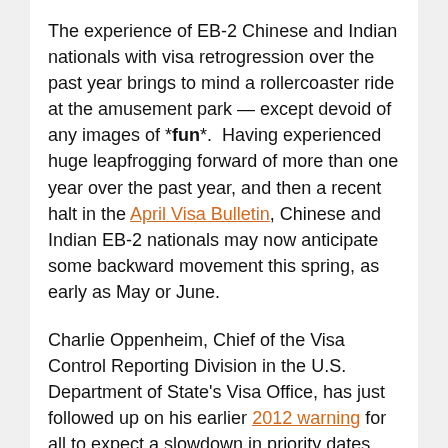The experience of EB-2 Chinese and Indian nationals with visa retrogression over the past year brings to mind a rollercoaster ride at the amusement park — except devoid of any images of *fun*.  Having experienced huge leapfrogging forward of more than one year over the past year, and then a recent halt in the April Visa Bulletin, Chinese and Indian EB-2 nationals may now anticipate some backward movement this spring, as early as May or June.
Charlie Oppenheim, Chief of the Visa Control Reporting Division in the U.S. Department of State's Visa Office, has just followed up on his earlier 2012 warning for all to expect a slowdown in priority dates this spring.  A number-crunching expert, he is tasked with ensuring that the government does not give out more than 140,000 employment-based green cards each year, subject to per country limits.  As early as May 1 or June 1, Oppenheim anticipates having to retrogress Employment-Based Second Preference (EB-2) priority dates for Chinese and